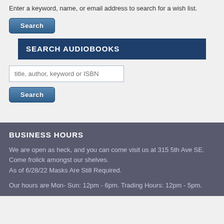Enter a keyword, name, or email address to search for a wish list.
[Figure (screenshot): Search button with blue gradient background]
SEARCH AUDIOBOOKS
[Figure (screenshot): Text input field with placeholder 'title, author, keyword or ISBN']
[Figure (screenshot): Search button with blue gradient background]
BUSINESS HOURS
We are open as heck, and you can come visit us at 315 5th Ave SE. Come frolick amongst our shelves.
As of 6/28/22 Masks Are Still Required.
Our hours are Mon- Sun: 12pm - 6pm. Trading Hours: 12pm - 5pm.